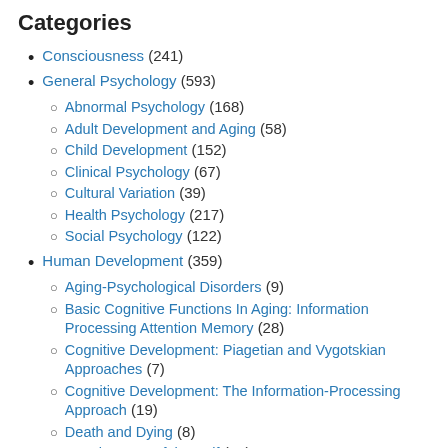Categories
Consciousness (241)
General Psychology (593)
Abnormal Psychology (168)
Adult Development and Aging (58)
Child Development (152)
Clinical Psychology (67)
Cultural Variation (39)
Health Psychology (217)
Social Psychology (122)
Human Development (359)
Aging-Psychological Disorders (9)
Basic Cognitive Functions In Aging: Information Processing Attention Memory (28)
Cognitive Development: Piagetian and Vygotskian Approaches (7)
Cognitive Development: The Information-Processing Approach (19)
Death and Dying (8)
Development of the Self (55)
Disorders of Childhood (15)
Early Social and Emotional development (57)